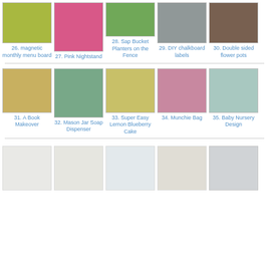[Figure (photo): Grid of DIY/craft project thumbnails with captions numbered 26-30 (magnetic monthly menu board, pink nightstand, sap bucket planters on fence, DIY chalkboard labels, double sided flower pots)]
26. magnetic monthly menu board
27. Pink Nightstand
28. Sap Bucket Planters on the Fence
29. DIY chalkboard labels
30. Double sided flower pots
[Figure (photo): Grid of DIY/craft project thumbnails with captions numbered 31-35 (A Book Makeover, Mason Jar Soap Dispenser, Super Easy Lemon Blueberry Cake, Munchie Bag, Baby Nursery Design)]
31. A Book Makeover
32. Mason Jar Soap Dispenser
33. Super Easy Lemon Blueberry Cake
34. Munchie Bag
35. Baby Nursery Design
[Figure (photo): Partial row of faded/light thumbnails at the bottom of the page, items 36-40, images only partially visible]